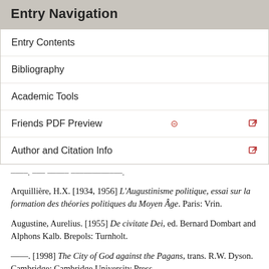Entry Navigation
Entry Contents
Bibliography
Academic Tools
Friends PDF Preview
Author and Citation Info
Arquillière, H.X. [1934, 1956] L'Augustinisme politique, essai sur la formation des théories politiques du Moyen Âge. Paris: Vrin.
Augustine, Aurelius. [1955] De civitate Dei, ed. Bernard Dombart and Alphons Kalb. Brepols: Turnholt.
––. [1998] The City of God against the Pagans, trans. R.W. Dyson. Cambridge: Cambridge University Press.
––. [2001] The Pilgrim City: Social and Political Ideas in the Writings of St. Augustine of Hippo, ed. and